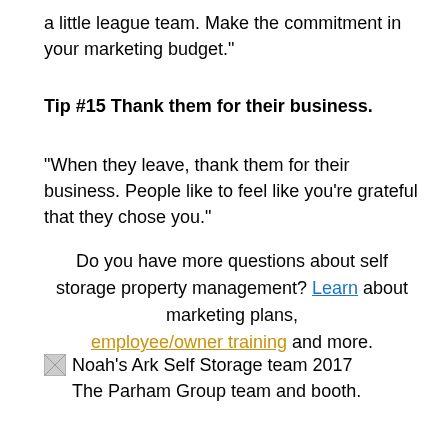a little league team. Make the commitment in your marketing budget.”
Tip #15 Thank them for their business.
“When they leave, thank them for their business. People like to feel like you’re grateful that they chose you.”
Do you have more questions about self storage property management? Learn about marketing plans, employee/owner training and more.
[Figure (photo): Noah’s Ark Self Storage team 2017 — The Parham Group team and booth.]
Noah’s Ark Self Storage team 2017
The Parham Group team and booth.